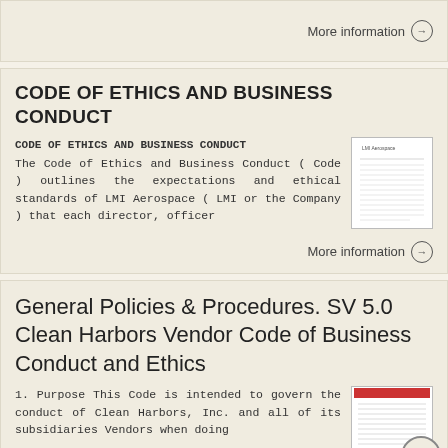More information →
CODE OF ETHICS AND BUSINESS CONDUCT
CODE OF ETHICS AND BUSINESS CONDUCT The Code of Ethics and Business Conduct ( Code ) outlines the expectations and ethical standards of LMI Aerospace ( LMI or the Company ) that each director, officer
[Figure (other): Thumbnail of a document page with small text lines]
More information →
General Policies & Procedures. SV 5.0 Clean Harbors Vendor Code of Business Conduct and Ethics
1. Purpose This Code is intended to govern the conduct of Clean Harbors, Inc. and all of its subsidiaries Vendors when doing
[Figure (other): Thumbnail of a document page with red header and text lines]